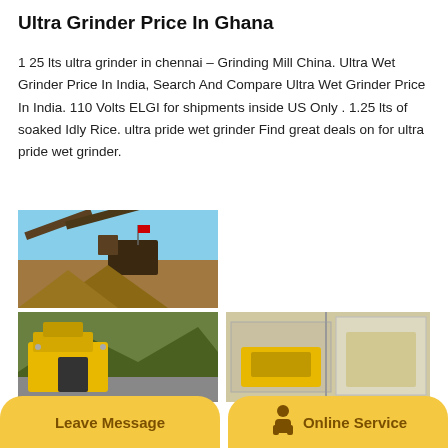Ultra Grinder Price In Ghana
1 25 lts ultra grinder in chennai – Grinding Mill China. Ultra Wet Grinder Price In India, Search And Compare Ultra Wet Grinder Price In India. 110 Volts ELGI for shipments inside US Only . 1.25 lts of soaked Idly Rice. ultra pride wet grinder Find great deals on for ultra pride wet grinder.
[Figure (photo): Industrial mining/crushing equipment with conveyor belts and stone piles, blue sky background]
[Figure (photo): Industrial crushing/screening plant with conveyor belts and machinery, blue sky, with a yellow back-to-top button overlay]
[Figure (photo): Yellow heavy mining machinery (jaw crusher) in mountainous terrain]
[Figure (photo): Industrial building/facility with yellow equipment inside]
Leave Message
Online Service